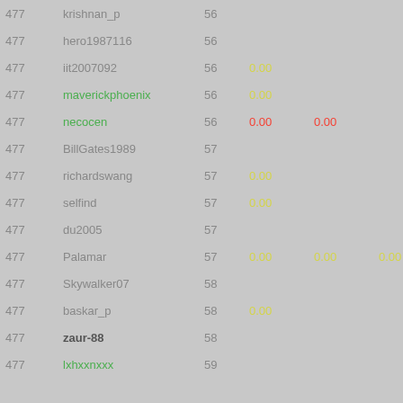| rank | user | num | v1 | v2 | v3 | score |
| --- | --- | --- | --- | --- | --- | --- |
| 477 | krishnan_p | 56 |  |  |  | 0.0 |
| 477 | hero1987116 | 56 |  |  |  | 0.0 |
| 477 | iit2007092 | 56 | 0.00 |  |  | 0.0 |
| 477 | maverickphoenix | 56 | 0.00 |  |  | 0.0 |
| 477 | necocen | 56 | 0.00 | 0.00 |  | 0.0 |
| 477 | BillGates1989 | 57 |  |  |  | 0.0 |
| 477 | richardswang | 57 | 0.00 |  |  | 0.0 |
| 477 | selfind | 57 | 0.00 |  |  | 0.0 |
| 477 | du2005 | 57 |  |  |  | 0.0 |
| 477 | Palamar | 57 | 0.00 | 0.00 | 0.00 | 0.0 |
| 477 | Skywalker07 | 58 |  |  |  | 0.0 |
| 477 | baskar_p | 58 | 0.00 |  |  | 0.0 |
| 477 | zaur-88 | 58 |  |  |  | 0.0 |
| 477 | lxhxxnxxx | 59 |  |  |  | 0.0 |